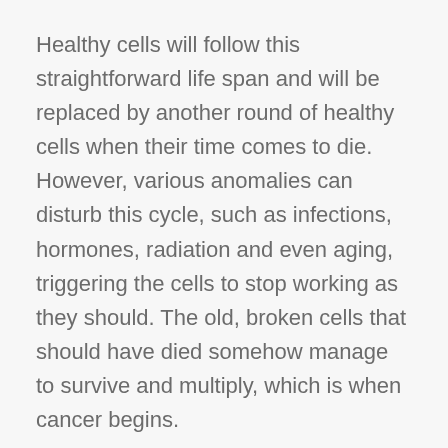Healthy cells will follow this straightforward life span and will be replaced by another round of healthy cells when their time comes to die. However, various anomalies can disturb this cycle, such as infections, hormones, radiation and even aging, triggering the cells to stop working as they should. The old, broken cells that should have died somehow manage to survive and multiply, which is when cancer begins.
Every mammal has the ability to try and fix cellular damage, but as with everything, these systems can sometimes fail to do their duty sufficiently. This can happen due to a dog’s specific breed genetic defects that they’ve inherited, the defence system could have